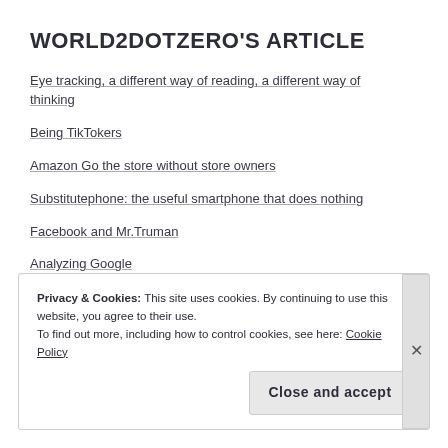WORLD2DOTZERO'S ARTICLE
Eye tracking, a different way of reading, a different way of thinking
Being TikTokers
Amazon Go the store without store owners
Substitutephone: the useful smartphone that does nothing
Facebook and Mr.Truman
Analyzing Google
There's no place like smartphone
Privacy & Cookies: This site uses cookies. By continuing to use this website, you agree to their use. To find out more, including how to control cookies, see here: Cookie Policy